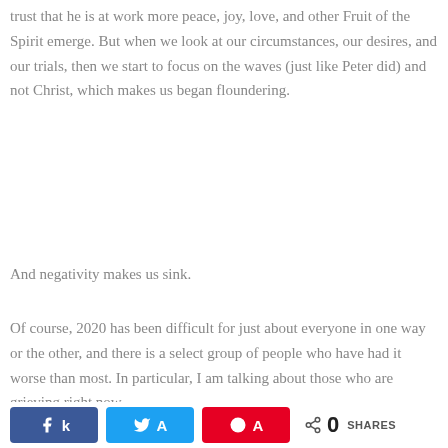trust that he is at work more peace, joy, love, and other Fruit of the Spirit emerge. But when we look at our circumstances, our desires, and our trials, then we start to focus on the waves (just like Peter did) and not Christ, which makes us began floundering.
And negativity makes us sink.
Of course, 2020 has been difficult for just about everyone in one way or the other, and there is a select group of people who have had it worse than most. In particular, I am talking about those who are grieving right now.
Every year as the holiday season comes
[Figure (other): Social share bar with Facebook, Twitter, Pinterest buttons and a share count showing 0 SHARES]